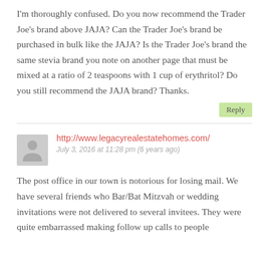I'm thoroughly confused. Do you now recommend the Trader Joe's brand above JAJA? Can the Trader Joe's brand be purchased in bulk like the JAJA? Is the Trader Joe's brand the same stevia brand you note on another page that must be mixed at a ratio of 2 teaspoons with 1 cup of erythritol? Do you still recommend the JAJA brand? Thanks.
Reply
http://www.legacyrealestatehomes.com/
July 3, 2016 at 11:28 pm (6 years ago)
The post office in our town is notorious for losing mail. We have several friends who Bar/Bat Mitzvah or wedding invitations were not delivered to several invitees. They were quite embarrassed making follow up calls to people